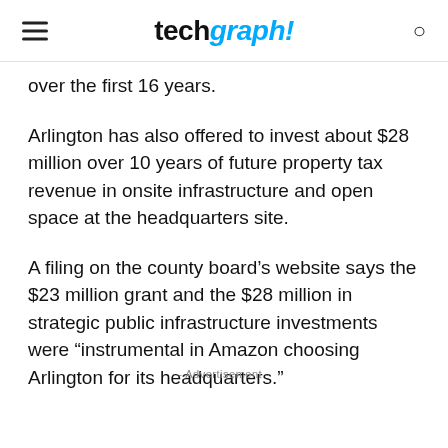techgraph!
over the first 16 years.
Arlington has also offered to invest about $28 million over 10 years of future property tax revenue in onsite infrastructure and open space at the headquarters site.
A filing on the county board’s website says the $23 million grant and the $28 million in strategic public infrastructure investments were “instrumental in Amazon choosing Arlington for its headquarters.”
- Advertisement -